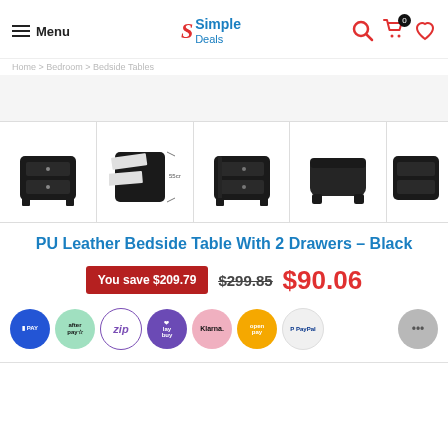Menu | Simple Deals
[Figure (photo): Five product images of a black PU leather bedside table with 2 drawers shown from different angles]
PU Leather Bedside Table With 2 Drawers – Black
You save $209.79  $299.85  $90.06
[Figure (infographic): Payment method logos: Laybuy, Afterpay, Zip, Laybuy, Klarna, Open Pay, PayPal, chat bubble]